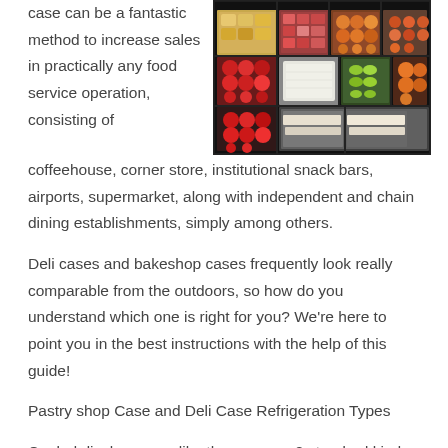case can be a fantastic method to increase sales in practically any food service operation, consisting of
[Figure (photo): Photo of a refrigerated deli/bakery display case filled with colorful food items including fruits, pastries, cheeses, and other prepared foods arranged in trays]
coffeehouse, corner store, institutional snack bars, airports, supermarket, along with independent and chain dining establishments, simply among others.
Deli cases and bakeshop cases frequently look really comparable from the outdoors, so how do you understand which one is right for you? We're here to point you in the best instructions with the help of this guide!
Pastry shop Case and Deli Case Refrigeration Types
Cooled display cases like these usage 2 standard kinds of